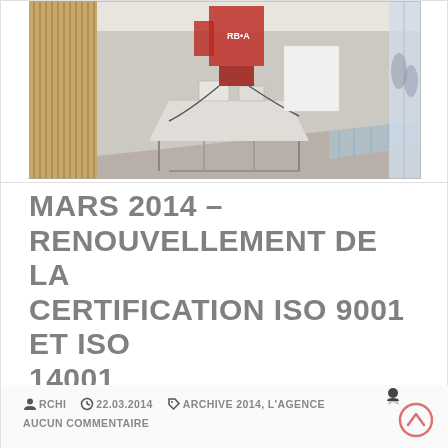[Figure (illustration): Architectural interior sketch/rendering of an office or showroom space with wooden slat wall panels on the left, a central workstation table with equipment, glass floor panels on the right, and people visible through a glass facade in the background. Red machinery or equipment visible in the upper center area.]
MARS 2014 – RENOUVELLEMENT DE LA CERTIFICATION ISO 9001 ET ISO 14001
ARCHI   22.03.2014   ARCHIVE 2014, L'AGENCE
AUCUN COMMENTAIRE